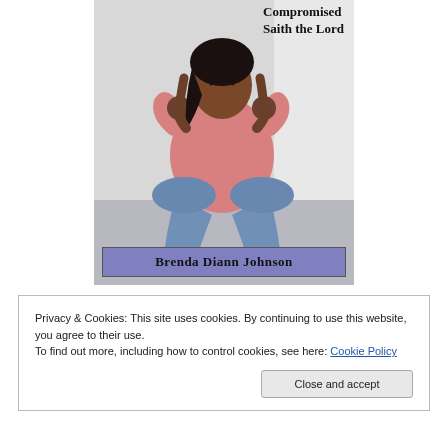[Figure (illustration): Book cover showing a woman of color sitting huddled with her knees drawn up, wearing a pink top and blue jeans, with text 'Compromised Saith the Lord' at top right and author name 'Brenda Diann Johnson' in a purple/blue band at the bottom of the cover image.]
Privacy & Cookies: This site uses cookies. By continuing to use this website, you agree to their use.
To find out more, including how to control cookies, see here: Cookie Policy
Close and accept